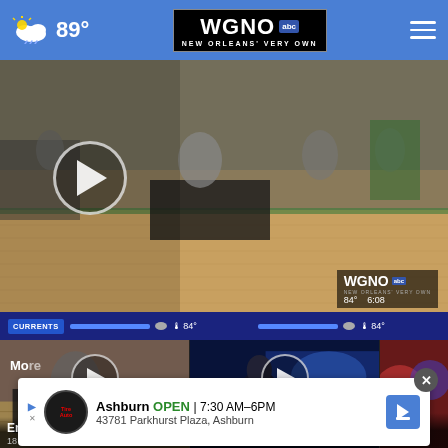WGNO ABC New Orleans' Very Own — 89°
[Figure (screenshot): Video player showing indoor event/fair at a gymnasium. Large play button in center-left. WGNO watermark bottom right showing temperature 84° and time 6:08. Currents weather bar at bottom showing 84° temperatures.]
[Figure (screenshot): Thumbnail: Entergy fair held Saturday, 18 hours ago]
[Figure (screenshot): Thumbnail: 2 deadly shootings hours apart in same area, 18 hours ago]
[Figure (screenshot): Thumbnail: Make-A-Wish bike (partially visible)]
Ashburn OPEN 7:30 AM–6 PM 43781 Parkhurst Plaza, Ashburn